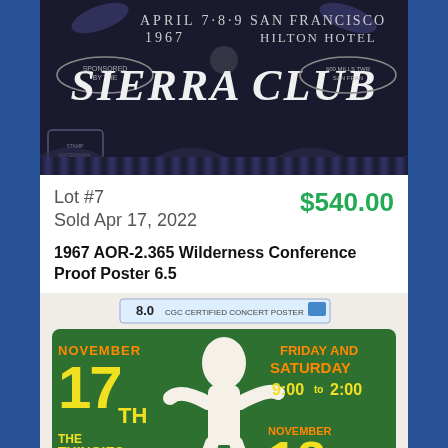[Figure (photo): Black and white vintage poster for Sierra Club event, April 7-8-9, 1967, San Francisco Hilton Hotel, with decorative Art Nouveau border and lettering]
Lot #7
Sold Apr 17, 2022
$540.00
1967 AOR-2.365 Wilderness Conference Proof Poster 6.5
[Figure (photo): Psychedelic concert poster in green and yellow with CGC graded slab showing 8.0 grade. Poster features November 17th The Thingies and the South, Friday and Saturday 9:00 to 2:00, November 18th Shiva's text in psychedelic lettering with white figure silhouette]